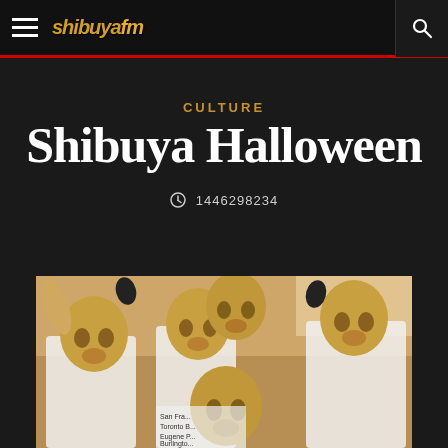shibuya.fm — navigation bar with hamburger menu and search icon
CULTURE
Shibuya Halloween
⊙ 1446298234
[Figure (photo): Group of people wearing identical realistic face masks at Shibuya Halloween event, dressed in white tank tops, posing for the camera in a crowded indoor venue]